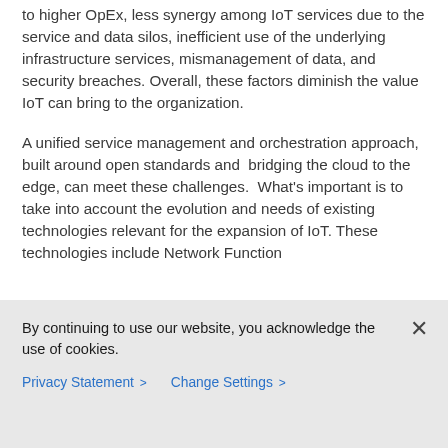to higher OpEx, less synergy among IoT services due to the service and data silos, inefficient use of the underlying infrastructure services, mismanagement of data, and security breaches. Overall, these factors diminish the value IoT can bring to the organization.
A unified service management and orchestration approach, built around open standards and bridging the cloud to the edge, can meet these challenges. What's important is to take into account the evolution and needs of existing technologies relevant for the expansion of IoT. These technologies include Network Function
By continuing to use our website, you acknowledge the use of cookies.
Privacy Statement > Change Settings >